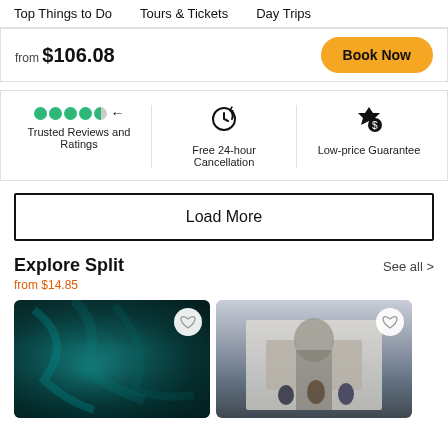Top Things to Do   Tours & Tickets   Day Trips
from $106.08
Book Now
Trusted Reviews and Ratings
Free 24-hour Cancellation
Low-price Guarantee
Load More
Explore Split
from $14.85
See all >
[Figure (photo): Teal/dark cave image with heart icon overlay]
[Figure (photo): People in front of a white classical building with heart icon overlay]